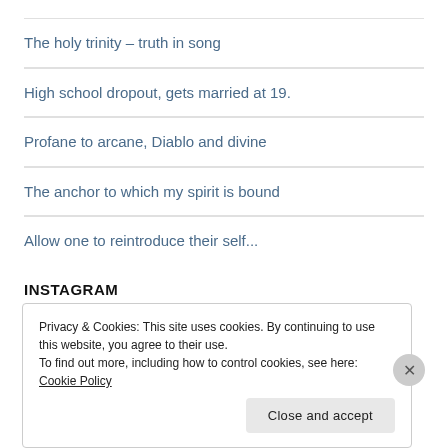The holy trinity – truth in song
High school dropout, gets married at 19.
Profane to arcane, Diablo and divine
The anchor to which my spirit is bound
Allow one to reintroduce their self...
INSTAGRAM
Privacy & Cookies: This site uses cookies. By continuing to use this website, you agree to their use.
To find out more, including how to control cookies, see here: Cookie Policy
Close and accept